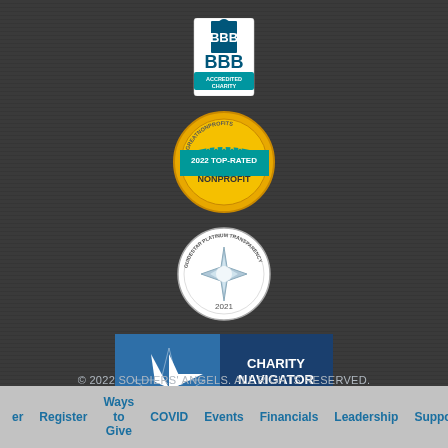[Figure (logo): BBB Accredited Charity badge/seal]
[Figure (logo): GreatNonprofits 2022 Top-Rated Nonprofit badge]
[Figure (logo): Guidestar Platinum Transparency 2021 seal]
[Figure (logo): Charity Navigator Four Star Charity badge]
© 2022 SOLDIERS' ANGELS. ALL RIGHTS RESERVED.
er  Register  Ways to Give  COVID  Events  Financials  Leadership  Support